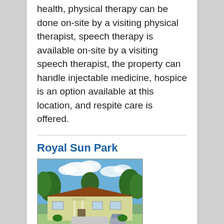health, physical therapy can be done on-site by a visiting physical therapist, speech therapy is available on-site by a visiting speech therapist, the property can handle injectable medicine, hospice is an option available at this location, and respite care is offered.
Royal Sun Park
[Figure (photo): Exterior photo of Royal Sun Park facility — a single-story building with a covered entrance portico, surrounded by large trees under a partly cloudy blue sky.]
312 East 124 Avenue